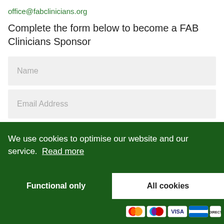office@fabclinicians.org
Complete the form below to become a FAB Clinicians Sponsor
[Figure (screenshot): Web form with Name input field (grey background) and Email Address input field (grey background), plus a partially visible third field at the bottom]
We use cookies to optimise our website and our service.  Read more
Functional only
All cookies